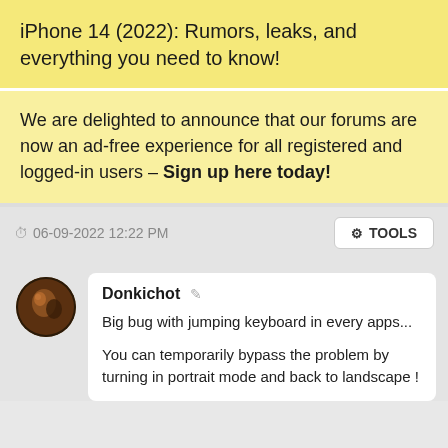iPhone 14 (2022): Rumors, leaks, and everything you need to know!
We are delighted to announce that our forums are now an ad-free experience for all registered and logged-in users - Sign up here today!
06-09-2022 12:22 PM
TOOLS
Donkichot
Big bug with jumping keyboard in every apps...
You can temporarily bypass the problem by turning in portrait mode and back to landscape !